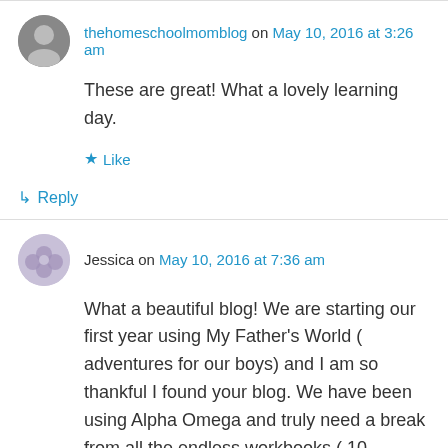thehomeschoolmomblog on May 10, 2016 at 3:26 am
These are great! What a lovely learning day.
★ Like
↳ Reply
Jessica on May 10, 2016 at 7:36 am
What a beautiful blog! We are starting our first year using My Father's World ( adventures for our boys) and I am so thankful I found your blog. We have been using Alpha Omega and truly need a break from all the endless workbooks ( 10 workbooks per subject with 2 tests per workbook). Your blog makes me feel inspired